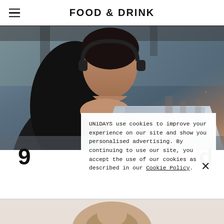FOOD & DRINK
[Figure (photo): Person wearing headphones sitting at a laptop in a cafe/restaurant environment, dressed in a black t-shirt, resting their chin on their hands, looking at the laptop screen]
9
d
UNiDAYS use cookies to improve your experience on our site and show you personalised advertising. By continuing to use our site, you accept the use of our cookies as described in our Cookie Policy.
×
[Figure (photo): Partial view of another person at bottom of page, image cut off]